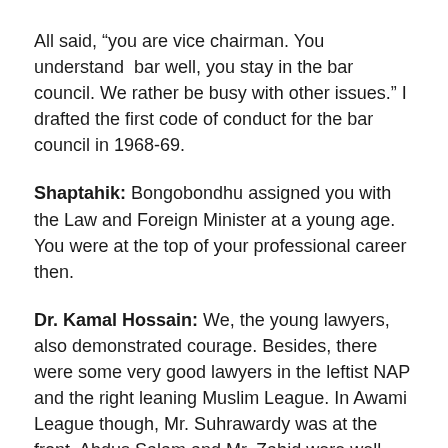All said, “you are vice chairman. You understand bar well, you stay in the bar council. We rather be busy with other issues.” I drafted the first code of conduct for the bar council in 1968-69.
Shaptahik: Bongobondhu assigned you with the Law and Foreign Minister at a young age. You were at the top of your professional career then.
Dr. Kamal Hossain: We, the young lawyers, also demonstrated courage. Besides, there were some very good lawyers in the leftist NAP and the right leaning Muslim League. In Awami League though, Mr. Suhrawardy was at the front. Abdus Salam and Mr. Zahid were well known lawyers. And we earned reputation through the Ittefaq case and a habeas corpus case.